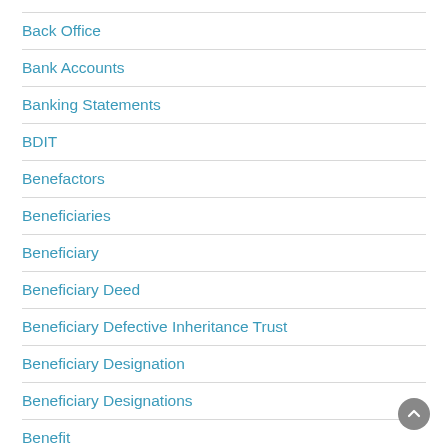Back Office
Bank Accounts
Banking Statements
BDIT
Benefactors
Beneficiaries
Beneficiary
Beneficiary Deed
Beneficiary Defective Inheritance Trust
Beneficiary Designation
Beneficiary Designations
Benefit